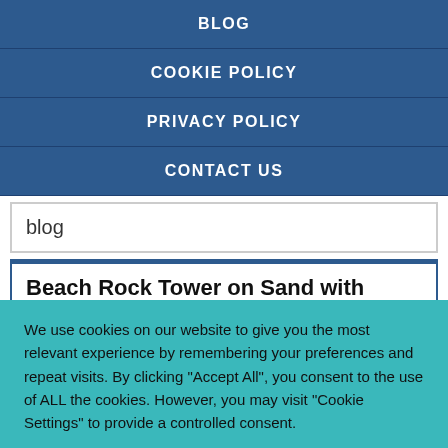BLOG
COOKIE POLICY
PRIVACY POLICY
CONTACT US
blog
Beach Rock Tower on Sand with Calm Waves in Background
We use cookies on our website to give you the most relevant experience by remembering your preferences and repeat visits. By clicking "Accept All", you consent to the use of ALL the cookies. However, you may visit "Cookie Settings" to provide a controlled consent.
Cookie Settings | Accept All